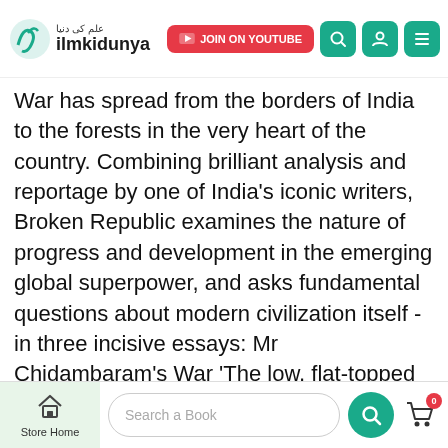ilmkidunya - JOIN ON YOUTUBE
War has spread from the borders of India to the forests in the very heart of the country. Combining brilliant analysis and reportage by one of India's iconic writers, Broken Republic examines the nature of progress and development in the emerging global superpower, and asks fundamental questions about modern civilization itself - in three incisive essays: Mr Chidambaram's War 'The low, flat-topped hills of south Orissa have been home to the Dongria Kondh long before there was a country called India or a state called Orissa . . . ' Walking with the Comrades 'The terse, typewritten note slipped under my door in a sealed envelope confirmed my appointment with "India's single biggest internal security challenge". I'd been waiting for
Store Home  Search a Book